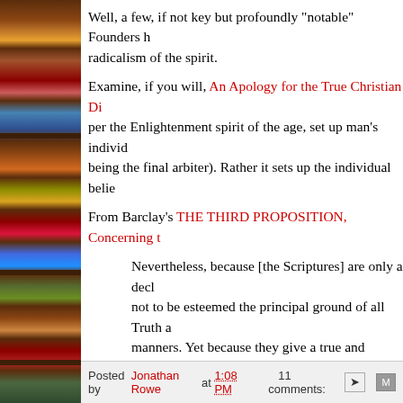[Figure (photo): Bookshelf sidebar with colorful books on wooden shelves]
Well, a few, if not key but profoundly "notable" Founders he radicalism of the spirit.
Examine, if you will, An Apology for the True Christian Di per the Enlightenment spirit of the age, set up man's individ being the final arbiter). Rather it sets up the individual belie
From Barclay's THE THIRD PROPOSITION, Concerning t
Nevertheless, because [the Scriptures] are only a decl not to be esteemed the principal ground of all Truth a manners. Yet because they give a true and faithful tes secondary rule, subordinate to the Spirit, from which testimony of the Spirit we do alone truly know them, led into all Truth; therefore, according to the Scriptur therefore receive and believe the Scriptures because t more originally and principally the rule, according to tale, illud ipsum est magis tale: That for which a thin
Posted by Jonathan Rowe at 1:08 PM    11 comments: